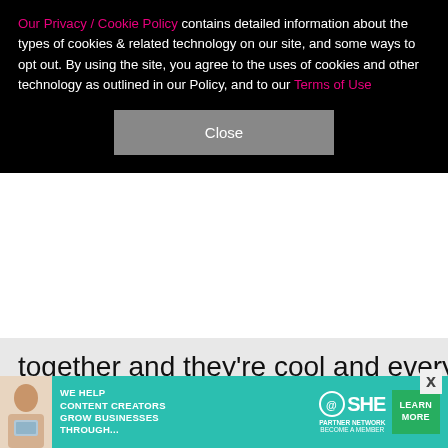Our Privacy / Cookie Policy contains detailed information about the types of cookies & related technology on our site, and some ways to opt out. By using the site, you agree to the uses of cookies and other technology as outlined in our Policy, and to our Terms of Use
Close
together and they're cool and everybody was just hanging out. … [It] may look a way, but literally it was nothing. It was some friends, members of the team, crew and people like that. They all know each other and were hanging. Like come on, they're on an open balcony in New Orleans and he's famous. It was nothing." An Us Weekly source echoed the "just friends" line: "Several cast members were there and it was just a cast gathering," said the insider. "Nothing remotely
[Figure (infographic): Advertisement banner: teal/green background with woman holding tablet, text 'WE HELP CONTENT CREATORS GROW BUSINESSES THROUGH...' with SHE Partner Network logo and 'LEARN MORE' green button]